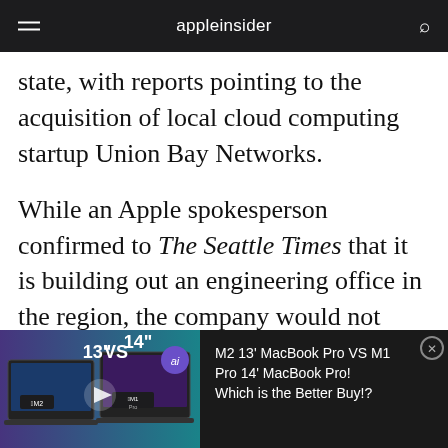appleinsider
state, with reports pointing to the acquisition of local cloud computing startup Union Bay Networks.
While an Apple spokesperson confirmed to The Seattle Times that it is building out an engineering office in the region, the company would not directly state that it had purchased Union Bay. In lieu of an official declaration, the
[Figure (screenshot): Video advertisement thumbnail showing two MacBook laptops side by side labeled '13" VS 14"' with M2 and M1 Pro chips, with AppleInsider logo]
M2 13' MacBook Pro VS M1 Pro 14' MacBook Pro! Which is the Better Buy!?